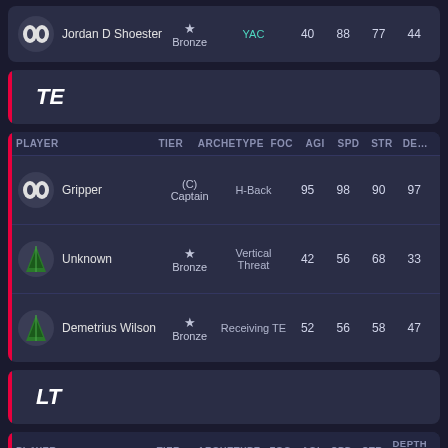| PLAYER | TIER | ARCHETYPE | FOC | AGI | SPD | STR | DEP |
| --- | --- | --- | --- | --- | --- | --- | --- |
| Jordan D Shoester | ★ Bronze | YAC | 40 | 88 | 77 | 44 |  |
TE
| PLAYER | TIER | ARCHETYPE | FOC | AGI | SPD | STR | DEP |
| --- | --- | --- | --- | --- | --- | --- | --- |
| Gripper | (C) Captain | H-Back | 95 | 98 | 90 | 97 |  |
| Unknown | ★ Bronze | Vertical Threat | 42 | 56 | 68 | 33 |  |
| Demetrius Wilson | ★ Bronze | Receiving TE | 52 | 56 | 58 | 47 |  |
LT
| PLAYER | TIER | ARCHETYPE | FOC | AGI | SPD | STR | DEPTH PO |
| --- | --- | --- | --- | --- | --- | --- | --- |
| Ricky Riggs | ★ | Mauler | 41 | 30 | 35 | 59 |  |